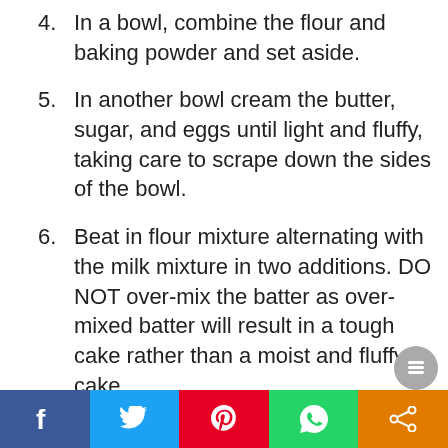4. In a bowl, combine the flour and baking powder and set aside.
5. In another bowl cream the butter, sugar, and eggs until light and fluffy, taking care to scrape down the sides of the bowl.
6. Beat in flour mixture alternating with the milk mixture in two additions. DO NOT over-mix the batter as over-mixed batter will result in a tough cake rather than a moist and fluffy cake.
7. Beat in the sour cream.
8. Carefully fold in the blueberries using a wooden spoon.
9. Pour into prepared bundt cake pan and